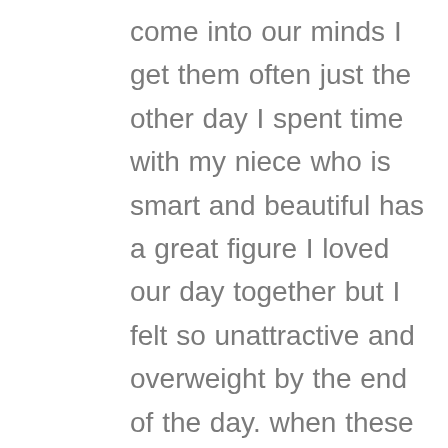come into our minds I get them often just the other day I spent time with my niece who is smart and beautiful has a great figure I loved our day together but I felt so unattractive and overweight by the end of the day. when these thoughts come I try to and most times suceed just not this day to focus on the things I have to be grateful for and the next day set a good health goal for that day Like drink more water. We can take these thoughts or